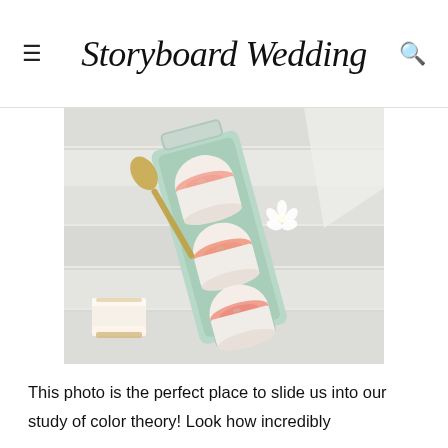Storyboard Wedding
[Figure (photo): Overhead flat-lay photo of three glass jars with pink/peach dessert mousse on a mint green rectangular serving tray, with a white flower, gold spoon, and a white cake slice on a rustic white wooden surface.]
This photo is the perfect place to slide us into our study of color theory!  Look how incredibly